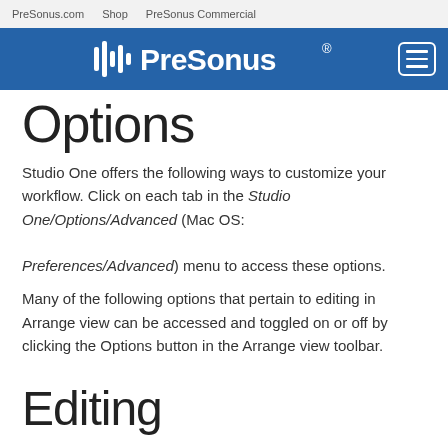PreSonus.com   Shop   PreSonus Commercial
[Figure (logo): PreSonus logo in white on blue navigation bar with hamburger menu button]
Options
Studio One offers the following ways to customize your workflow. Click on each tab in the Studio One/Options/Advanced (Mac OS: Preferences/Advanced) menu to access these options.
Many of the following options that pertain to editing in Arrange view can be accessed and toggled on or off by clicking the Options button in the Arrange view toolbar.
Editing